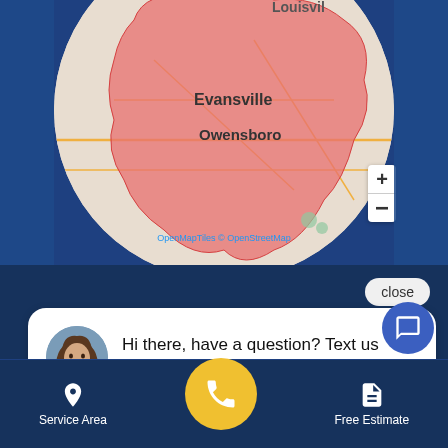[Figure (map): Circular map showing service area around Evansville, Owensboro, and Louisville region. Pink/red shaded area indicates service coverage. Roads and geographic features visible. OpenMapTiles © OpenStreetMap attribution at bottom.]
close
[Figure (photo): Avatar/profile photo of a woman with long brown hair in a circular frame]
Hi there, have a question? Text us here.
SERVICES
Service Area
Free Estimate